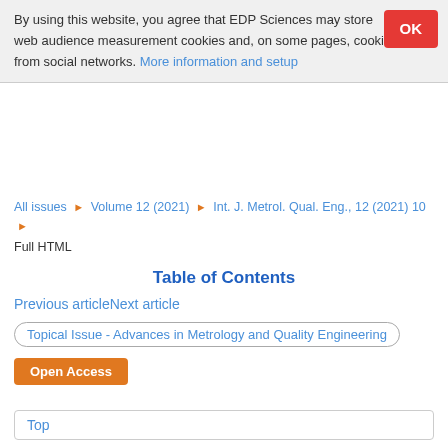By using this website, you agree that EDP Sciences may store web audience measurement cookies and, on some pages, cookies from social networks. More information and setup
All issues ▶ Volume 12 (2021) ▶ Int. J. Metrol. Qual. Eng., 12 (2021) 10 ▶ Full HTML
Table of Contents
Previous articleNext article
Topical Issue - Advances in Metrology and Quality Engineering
Open Access
Top